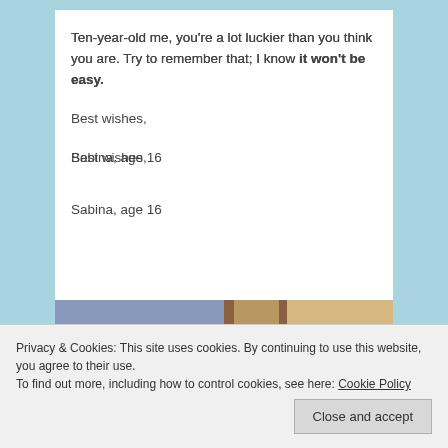Ten-year-old me, you're a lot luckier than you think you are. Try to remember that; I know it won't be easy.
Best wishes,
Sabina, age 16
[Figure (photo): Two photos side by side: left photo shows a young girl (~10 years old) with glasses and a pink outfit smiling at camera; right photo shows a teenage girl (~16 years old) with long brown hair smiling at camera.]
Privacy & Cookies: This site uses cookies. By continuing to use this website, you agree to their use.
To find out more, including how to control cookies, see here: Cookie Policy
Close and accept